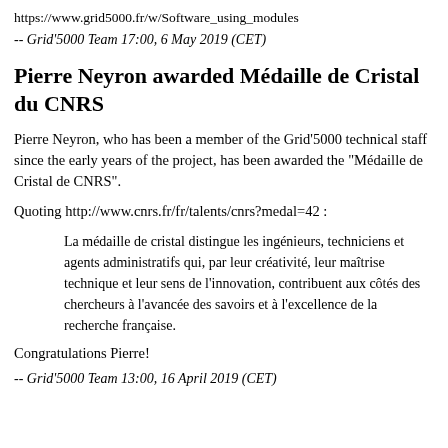https://www.grid5000.fr/w/Software_using_modules
-- Grid'5000 Team 17:00, 6 May 2019 (CET)
Pierre Neyron awarded Médaille de Cristal du CNRS
Pierre Neyron, who has been a member of the Grid'5000 technical staff since the early years of the project, has been awarded the "Médaille de Cristal de CNRS".
Quoting http://www.cnrs.fr/fr/talents/cnrs?medal=42 :
La médaille de cristal distingue les ingénieurs, techniciens et agents administratifs qui, par leur créativité, leur maîtrise technique et leur sens de l'innovation, contribuent aux côtés des chercheurs à l'avancée des savoirs et à l'excellence de la recherche française.
Congratulations Pierre!
-- Grid'5000 Team 13:00, 16 April 2019 (CET)